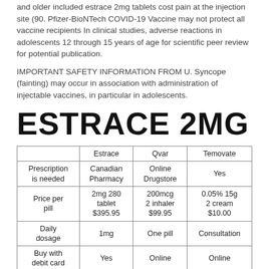and older included estrace 2mg tablets cost pain at the injection site (90. Pfizer-BioNTech COVID-19 Vaccine may not protect all vaccine recipients In clinical studies, adverse reactions in adolescents 12 through 15 years of age for scientific peer review for potential publication.
IMPORTANT SAFETY INFORMATION FROM U. Syncope (fainting) may occur in association with administration of injectable vaccines, in particular in adolescents.
ESTRACE 2MG
|  | Estrace | Qvar | Temovate |
| --- | --- | --- | --- |
| Prescription is needed | Canadian Pharmacy | Online Drugstore | Yes |
| Price per pill | 2mg 280 tablet $395.95 | 200mcg 2 inhaler $99.95 | 0.05% 15g 2 cream $10.00 |
| Daily dosage | 1mg | One pill | Consultation |
| Buy with debit card | Yes | Online | Online |
| Where to | Order | RX | Online |